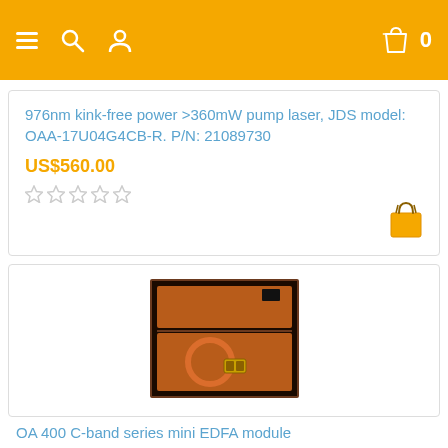Navigation bar with menu, search, user, bag icons and cart count 0
976nm kink-free power >360mW pump laser, JDS model: OAA-17U04G4CB-R. P/N: 21089730
US$560.00
[Figure (other): 5-star rating widget showing 0 stars selected]
[Figure (photo): Photo of a product in a foam-lined box, showing an optical module with orange cable coiled, in a dark cardboard box with foam inserts]
OA 400 C-band series mini EDFA module